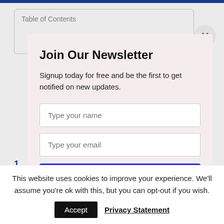[Figure (screenshot): Newsletter signup modal overlay on a webpage. The modal has a light pink/beige background and contains a title 'Join Our Newsletter', descriptive text, two input fields for name and email, and a blue 'SUBSCRIBE NOW' button. A close button (X) is visible in the top right. Behind the modal, partial page content is visible including a Table of Contents box and body text. At the bottom, a cookie consent bar reads 'This website uses cookies to improve your experience. We'll assume you're ok with this, but you can opt-out if you wish.' with Accept and Privacy Statement buttons.]
Join Our Newsletter
Signup today for free and be the first to get notified on new updates.
This website uses cookies to improve your experience. We'll assume you're ok with this, but you can opt-out if you wish.
Accept  Privacy Statement